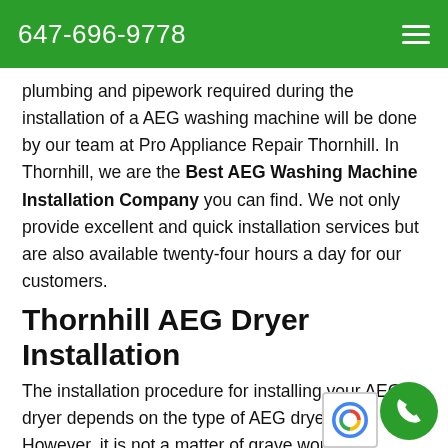647-696-9778
plumbing and pipework required during the installation of a AEG washing machine will be done by our team at Pro Appliance Repair Thornhill. In Thornhill, we are the Best AEG Washing Machine Installation Company you can find. We not only provide excellent and quick installation services but are also available twenty-four hours a day for our customers.
Thornhill AEG Dryer Installation
The installation procedure for installing your AEG dryer depends on the type of AEG dryer own. However, it is not a matter of grave worry &